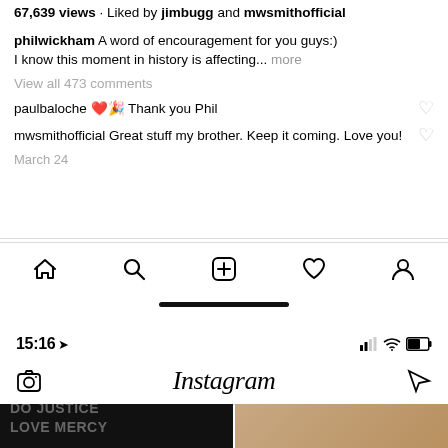67,639 views · Liked by jimbugg and mwsmithofficial
philwickham A word of encouragement for you guys:) I know this moment in history is affecting... more
View all 473 comments
paulbaloche ❤️🎉 Thank you Phil
mwsmithofficial Great stuff my brother. Keep it coming. Love you!
March 24
[Figure (screenshot): Instagram bottom navigation bar with home, search, plus, heart, and profile icons]
[Figure (screenshot): iPhone home indicator bar]
[Figure (screenshot): iOS status bar showing time 15:16 with location arrow, signal bars, wifi, and battery icons]
[Figure (screenshot): Instagram top bar with camera icon, Instagram logo, and direct message icon]
[Figure (screenshot): Instagram photo grid showing two posts: one dark with 'DO JUSTICE LOVE MERCY' text, one photo of three people]